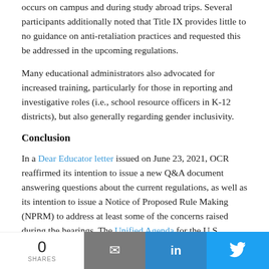occurs on campus and during study abroad trips. Several participants additionally noted that Title IX provides little to no guidance on anti-retaliation practices and requested this be addressed in the upcoming regulations.
Many educational administrators also advocated for increased training, particularly for those in reporting and investigative roles (i.e., school resource officers in K-12 districts), but also generally regarding gender inclusivity.
Conclusion
In a Dear Educator letter issued on June 23, 2021, OCR reaffirmed its intention to issue a new Q&A document answering questions about the current regulations, as well as its intention to issue a Notice of Proposed Rule Making (NPRM) to address at least some of the concerns raised during the hearings. The Unified Agenda for the U.S. Department of Education indicates that they expect to issue their NPRM for new Title IX regulations in May 2022. Therefore, the current regulations will remain in effect for
0 SHARES | Email | LinkedIn | Twitter